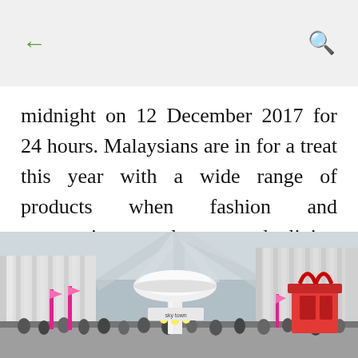← (back) | 🔍 (search)
midnight on 12 December 2017 for 24 hours. Malaysians are in for a treat this year with a wide range of products when fashion and accessories to home and living products go at unbeatable prices and discounts on Taobao and Tmall marketplaces.
[Figure (photo): Outdoor shopping mall scene showing Sky Town. A large white mushroom-shaped structure is centered, with colorful decorations, banners, and a crowd of people. A red gift-box shaped decoration is visible on the right side. The architecture features a distinctive ribbed ceiling above.]